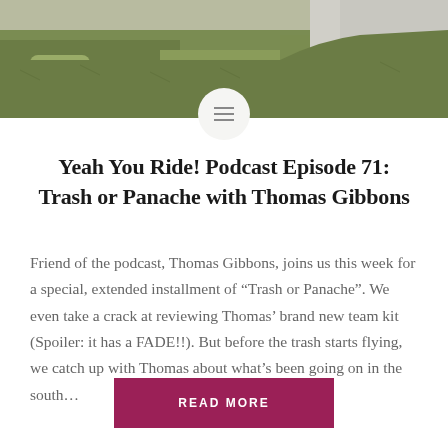[Figure (photo): Outdoor photo showing grass/turf along a path or road edge, with green ground cover and a light-colored paved surface visible in the upper right corner.]
Yeah You Ride! Podcast Episode 71: Trash or Panache with Thomas Gibbons
Friend of the podcast, Thomas Gibbons, joins us this week for a special, extended installment of “Trash or Panache”. We even take a crack at reviewing Thomas’ brand new team kit (Spoiler: it has a FADE!!). But before the trash starts flying, we catch up with Thomas about what’s been going on in the south…
READ MORE